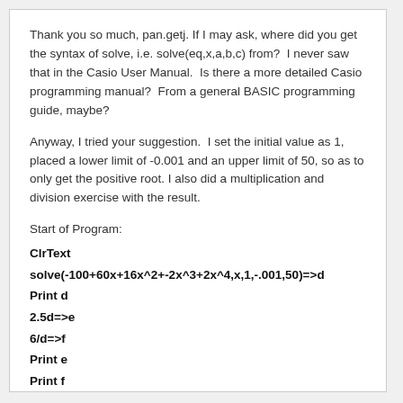Thank you so much, pan.getj. If I may ask, where did you get the syntax of solve, i.e. solve(eq,x,a,b,c) from?  I never saw that in the Casio User Manual.  Is there a more detailed Casio programming manual?  From a general BASIC programming guide, maybe?
Anyway, I tried your suggestion.  I set the initial value as 1, placed a lower limit of -0.001 and an upper limit of 50, so as to only get the positive root. I also did a multiplication and division exercise with the result.
Start of Program:
ClrText
solve(-100+60x+16x^2+-2x^3+2x^4,x,1,-.001,50)=>d
Print d
2.5d=>e
6/d=>f
Print e
Print f
End of Program.